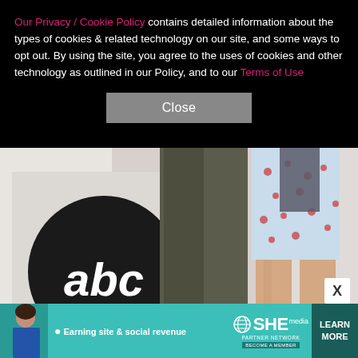Our Privacy / Cookie Policy contains detailed information about the types of cookies & related technology on our site, and some ways to opt out. By using the site, you agree to the uses of cookies and other technology as outlined in our Policy, and to our Terms of Use
Close
[Figure (photo): Photo of two people standing on a red carpet in front of an ABC logo backdrop and partial 'clark productions' signage. One person wearing dark olive/khaki trousers and white sneakers, the other wearing a light blue patterned dress. Red carpet visible at the bottom.]
X
[Figure (infographic): SHE Media Partner Network advertisement banner. Teal/turquoise background with a woman's photo on the left, text '● Earning site & social revenue', SHE Media globe logo, and a 'LEARN MORE' button on the right. 'BECOME A MEMBER' text below logo.]